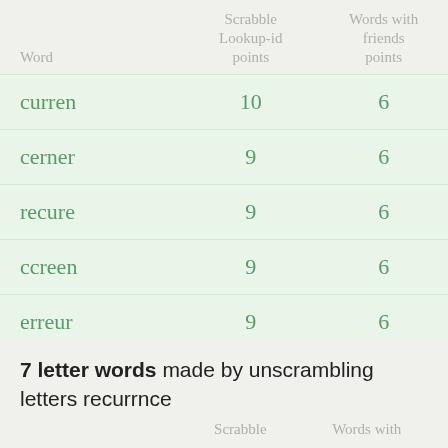| Word | Scrabble Lookup-id points | Words with friends points |
| --- | --- | --- |
| curren | 10 | 6 |
| cerner | 9 | 6 |
| recure | 9 | 6 |
| ccreen | 9 | 6 |
| erreur | 9 | 6 |
7 letter words made by unscrambling letters recurrnce
Scrabble   Words with